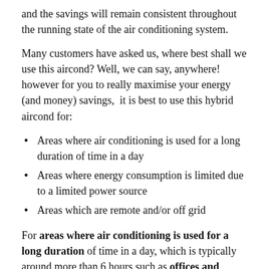and the savings will remain consistent throughout the running state of the air conditioning system.
Many customers have asked us, where best shall we use this aircond? Well, we can say, anywhere! however for you to really maximise your energy (and money) savings,  it is best to use this hybrid aircond for:
Areas where air conditioning is used for a long duration of time in a day
Areas where energy consumption is limited due to a limited power source
Areas which are remote and/or off grid
For areas where air conditioning is used for a long duration of time in a day, which is typically around more than 6 hours such as offices and commercial buildings of these types: